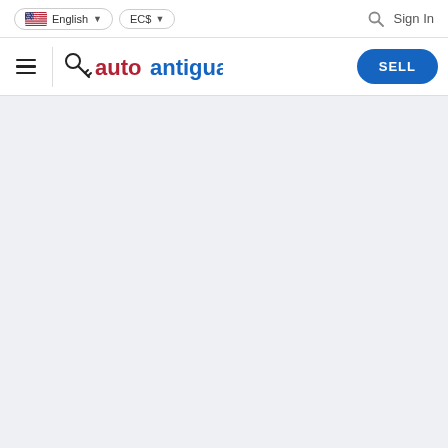English  EC$  Sign In
[Figure (logo): autoantigua.com logo with car key icon, auto in dark red, antigua.com in blue]
[Figure (other): SELL button, blue rounded pill shape, white text]